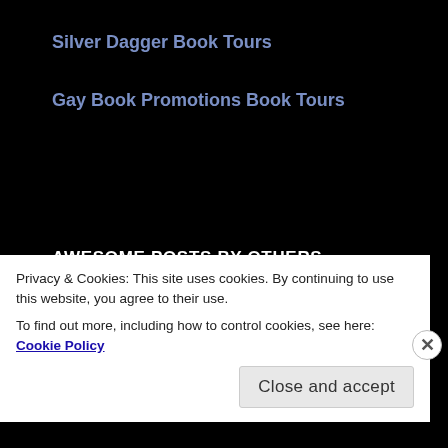Silver Dagger Book Tours
Gay Book Promotions Book Tours
AWESOME POSTS BY OTHERS
[Figure (photo): Composite image: left side shows a desk/workspace with blue background; right side shows a book cover or promotional image with text 'OON RISING' and 'R, THRILLER, AND ORMAL AUTHORS' on a dark golden/brown background]
Privacy & Cookies: This site uses cookies. By continuing to use this website, you agree to their use.
To find out more, including how to control cookies, see here: Cookie Policy
Close and accept